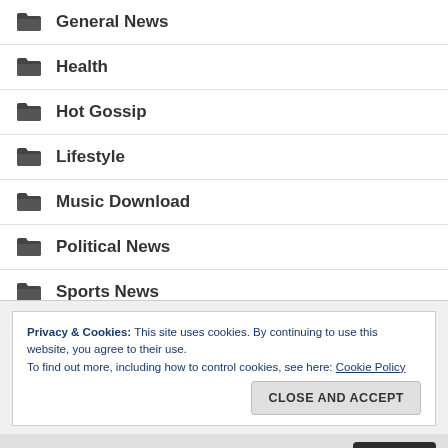General News
Health
Hot Gossip
Lifestyle
Music Download
Political News
Sports News
Technology
Privacy & Cookies: This site uses cookies. By continuing to use this website, you agree to their use.
To find out more, including how to control cookies, see here: Cookie Policy
CLOSE AND ACCEPT
you're ok with this, but you can opt-out if you wish.
Accept
Read More